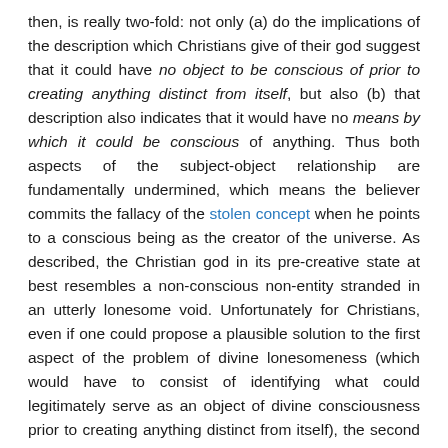then, is really two-fold: not only (a) do the implications of the description which Christians give of their god suggest that it could have no object to be conscious of prior to creating anything distinct from itself, but also (b) that description also indicates that it would have no means by which it could be conscious of anything. Thus both aspects of the subject-object relationship are fundamentally undermined, which means the believer commits the fallacy of the stolen concept when he points to a conscious being as the creator of the universe. As described, the Christian god in its pre-creative state at best resembles a non-conscious non-entity stranded in an utterly lonesome void. Unfortunately for Christians, even if one could propose a plausible solution to the first aspect of the problem of divine lonesomeness (which would have to consist of identifying what could legitimately serve as an object of divine consciousness prior to creating anything distinct from itself), the second aspect of the problem of divine lonesomeness would still remain.
With these prefatory remarks in view, I find it necessary to ask in response to Glenn's question, a question of my own: